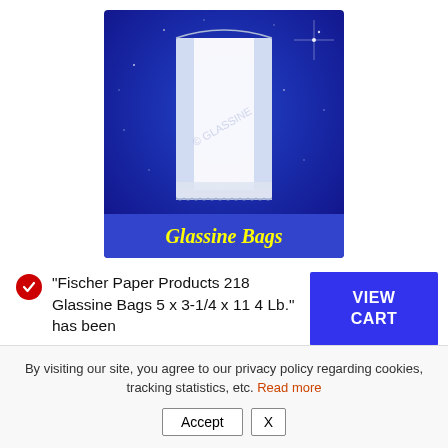[Figure (photo): Product image of a glassine bag on a blue starry background with yellow italic text 'Glassine Bags' at the bottom]
“Fischer Paper Products 218 Glassine Bags 5 x 3-1/4 x 11 4 Lb.” has been
VIEW CART
By visiting our site, you agree to our privacy policy regarding cookies, tracking statistics, etc. Read more
Accept  X